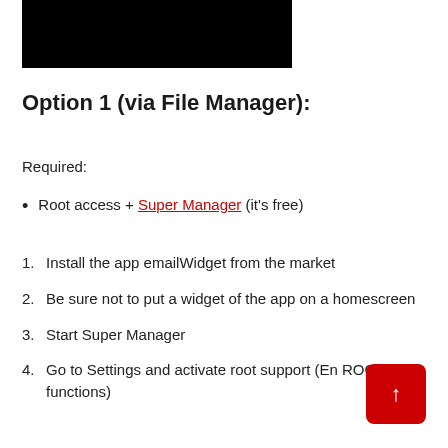[Figure (other): Black rectangular image/banner at the top of the page]
Option 1 (via File Manager):
Required:
Root access + Super Manager (it's free)
1. Install the app emailWidget from the market
2. Be sure not to put a widget of the app on a homescreen
3. Start Super Manager
4. Go to Settings and activate root support (En ROOT functions)